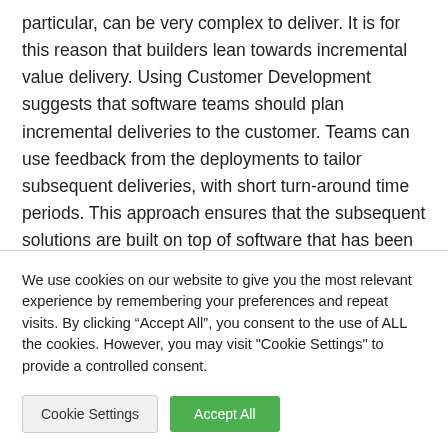particular, can be very complex to deliver. It is for this reason that builders lean towards incremental value delivery. Using Customer Development suggests that software teams should plan incremental deliveries to the customer. Teams can use feedback from the deployments to tailor subsequent deliveries, with short turn-around time periods. This approach ensures that the subsequent solutions are built on top of software that has been tailored for customer value.
We use cookies on our website to give you the most relevant experience by remembering your preferences and repeat visits. By clicking “Accept All”, you consent to the use of ALL the cookies. However, you may visit "Cookie Settings" to provide a controlled consent.